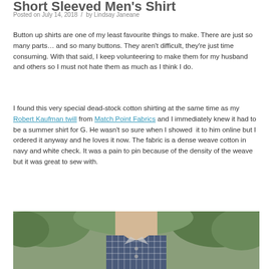Short Sleeved Men's Shirt
Posted on July 14, 2018 / by Lindsay Janeane
Button up shirts are one of my least favourite things to make. There are just so many parts… and so many buttons. They aren't difficult, they're just time consuming. With that said, I keep volunteering to make them for my husband and others so I must not hate them as much as I think I do.
I found this very special dead-stock cotton shirting at the same time as my Robert Kaufman twill from Match Point Fabrics and I immediately knew it had to be a summer shirt for G. He wasn't so sure when I showed it to him online but I ordered it anyway and he loves it now. The fabric is a dense weave cotton in navy and white check. It was a pain to pin because of the density of the weave but it was great to sew with.
[Figure (photo): Photo of a man wearing a navy and white check short-sleeved button-up shirt outdoors with greenery in the background.]